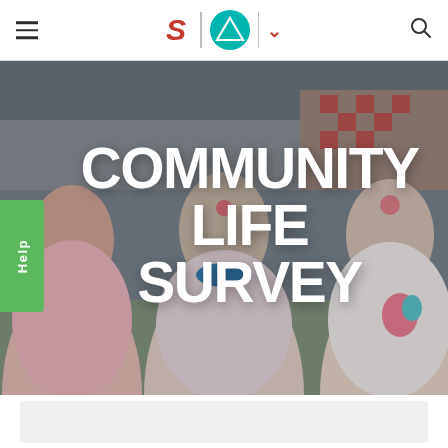Navigation bar with hamburger menu, S logo, Aranda triangle logo with chevron, and search icon
[Figure (photo): Three children with face paint smiling at an outdoor community event, with a checkered background. Text overlay reads COMMUNITY LIFE SURVEY.]
COMMUNITY LIFE SURVEY
[Figure (other): Green Help button on left side]